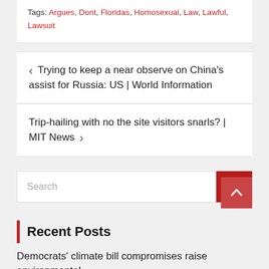Tags: Argues, Dont, Floridas, Homosexual, Law, Lawful, Lawsuit
< Trying to keep a near observe on China's assist for Russia: US | World Information
Trip-hailing with no the site visitors snarls? | MIT News >
Search
Recent Posts
Democrats' climate bill compromises raise environmental